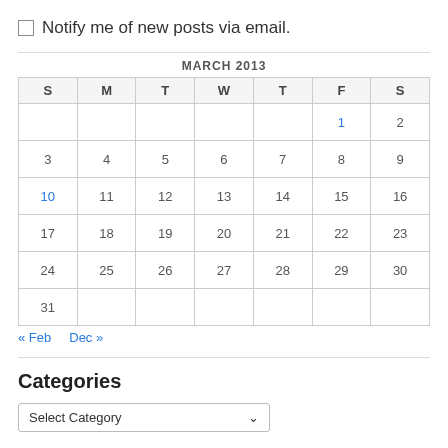Notify me of new posts via email.
| S | M | T | W | T | F | S |
| --- | --- | --- | --- | --- | --- | --- |
|  |  |  |  |  | 1 | 2 |
| 3 | 4 | 5 | 6 | 7 | 8 | 9 |
| 10 | 11 | 12 | 13 | 14 | 15 | 16 |
| 17 | 18 | 19 | 20 | 21 | 22 | 23 |
| 24 | 25 | 26 | 27 | 28 | 29 | 30 |
| 31 |  |  |  |  |  |  |
« Feb   Dec »
Categories
Select Category